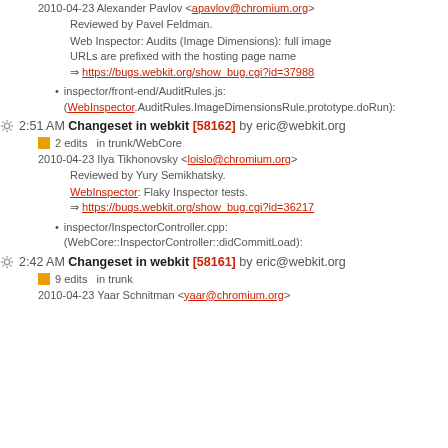2010-04-23 Alexander Pavlov <apavlov@chromium.org>
Reviewed by Pavel Feldman.
Web Inspector: Audits (Image Dimensions): full image URLs are prefixed with the hosting page name ⇒ https://bugs.webkit.org/show_bug.cgi?id=37988
inspector/front-end/AuditRules.js: (WebInspector.AuditRules.ImageDimensionsRule.prototype.doRun):
2:51 AM Changeset in webkit [58162] by eric@webkit.org
2 edits in trunk/WebCore
2010-04-23 Ilya Tikhonovsky <loislo@chromium.org>
Reviewed by Yury Semikhatsky.
WebInspector: Flaky Inspector tests. ⇒ https://bugs.webkit.org/show_bug.cgi?id=36217
inspector/InspectorController.cpp: (WebCore::InspectorController::didCommitLoad):
2:42 AM Changeset in webkit [58161] by eric@webkit.org
9 edits in trunk
2010-04-23 Yaar Schnitman <yaar@chromium.org>